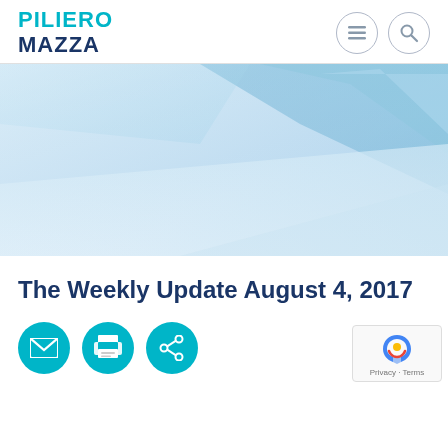PILIERO MAZZA
[Figure (illustration): Abstract light blue geometric banner background with diagonal polygon shapes and soft gradients]
The Weekly Update August 4, 2017
[Figure (infographic): Three teal circular icon buttons: email/envelope, print/document, and share icons]